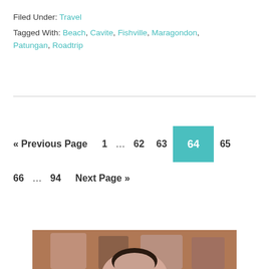Filed Under: Travel
Tagged With: Beach, Cavite, Fishville, Maragondon, Patungan, Roadtrip
« Previous Page   1  …  62   63   64   65   66  …  94   Next Page »